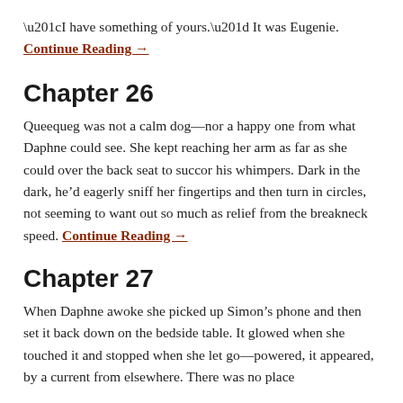“I have something of yours.” It was Eugenie. Continue Reading →
Chapter 26
Queequeg was not a calm dog—nor a happy one from what Daphne could see. She kept reaching her arm as far as she could over the back seat to succor his whimpers. Dark in the dark, he’d eagerly sniff her fingertips and then turn in circles, not seeming to want out so much as relief from the breakneck speed. Continue Reading →
Chapter 27
When Daphne awoke she picked up Simon’s phone and then set it back down on the bedside table. It glowed when she touched it and stopped when she let go—powered, it appeared, by a current from elsewhere. There was no place